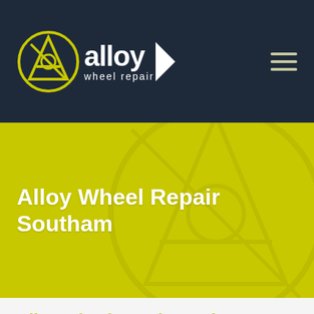[Figure (logo): Alloy Wheel Repair logo with yellow circular A emblem, white text 'alloy wheel repair' on dark navy background, hamburger menu icon on right]
Alloy Wheel Repair Southam
Alloy Wheel Repair Southam
Our Southam-based alloy wheel experts are available to